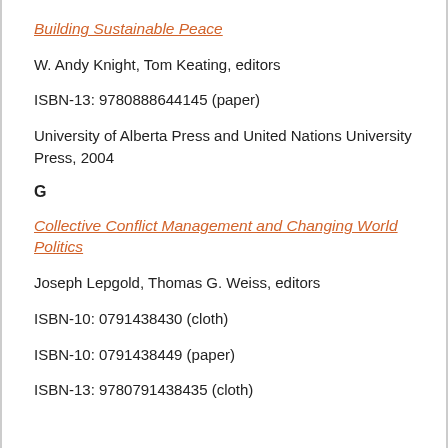Building Sustainable Peace
W. Andy Knight, Tom Keating, editors
ISBN-13: 9780888644145 (paper)
University of Alberta Press and United Nations University Press, 2004
G
Collective Conflict Management and Changing World Politics
Joseph Lepgold, Thomas G. Weiss, editors
ISBN-10: 0791438430 (cloth)
ISBN-10: 0791438449 (paper)
ISBN-13: 9780791438435 (cloth)